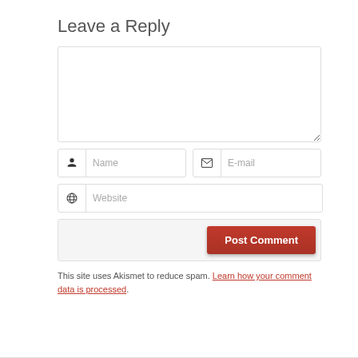Leave a Reply
[Figure (screenshot): Comment form with textarea, Name, E-mail, Website fields, and Post Comment button]
This site uses Akismet to reduce spam. Learn how your comment data is processed.